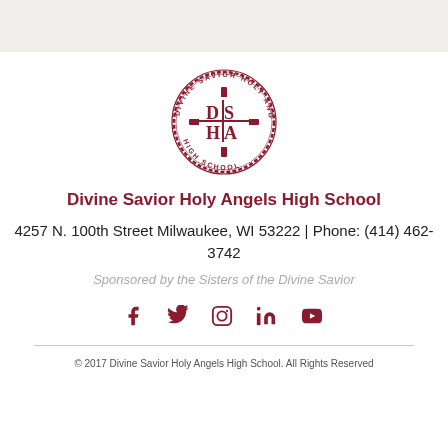[Figure (logo): Divine Savior Holy Angels High School circular seal/logo in dark red, with DS|HA monogram and cross in center, text around border reading DIVINE SAVIOR HOLY ANGELS HIGH SCHOOL]
Divine Savior Holy Angels High School
4257 N. 100th Street Milwaukee, WI 53222 | Phone: (414) 462-3742
Sponsored by the Sisters of the Divine Savior
[Figure (infographic): Social media icons row: Facebook, Twitter, Instagram, LinkedIn, YouTube — all in dark red/maroon color]
© 2017 Divine Savior Holy Angels High School. All Rights Reserved